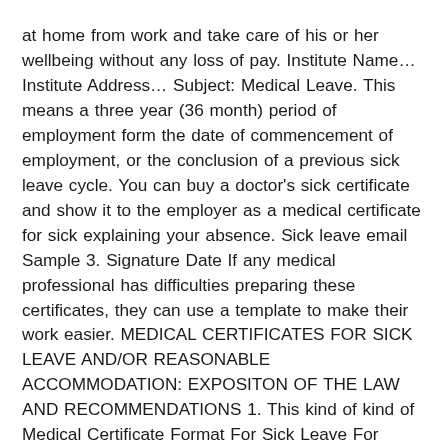at home from work and take care of his or her wellbeing without any loss of pay. Institute Name… Institute Address… Subject: Medical Leave. This means a three year (36 month) period of employment form the date of commencement of employment, or the conclusion of a previous sick leave cycle. You can buy a doctor's sick certificate and show it to the employer as a medical certificate for sick explaining your absence. Sick leave email Sample 3. Signature Date If any medical professional has difficulties preparing these certificates, they can use a template to make their work easier. MEDICAL CERTIFICATES FOR SICK LEAVE AND/OR REASONABLE ACCOMMODATION: EXPOSITON OF THE LAW AND RECOMMENDATIONS 1. This kind of kind of Medical Certificate Format For Sick Leave For Student the Canadian federal.